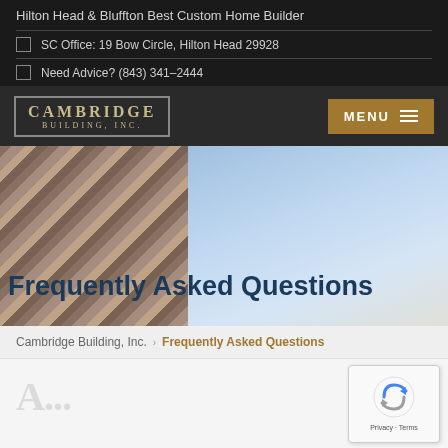Hilton Head & Bluffton Best Custom Home Builder
SC Office: 19 Bow Circle, Hilton Head 29928
Need Advice? (843) 341–2444
[Figure (logo): Cambridge Building, Inc. logo in gold text with border]
MENU
[Figure (photo): Hero banner with building facade on left and sky on right]
Frequently Asked Questions
Cambridge Building, Inc.
Frequently Asked Questions
[Figure (other): reCAPTCHA widget with Privacy and Terms links]